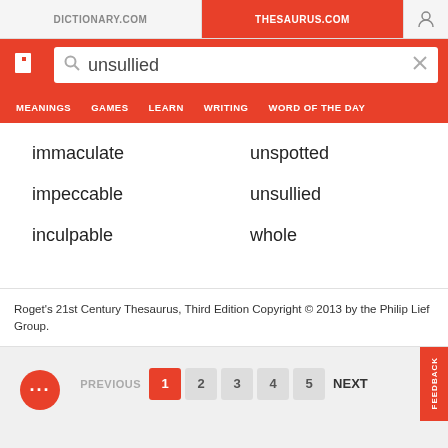DICTIONARY.COM | THESAURUS.COM
unsullied
MEANINGS  GAMES  LEARN  WRITING  WORD OF THE DAY
immaculate
unspotted
impeccable
unsullied
inculpable
whole
Roget's 21st Century Thesaurus, Third Edition Copyright © 2013 by the Philip Lief Group.
PREVIOUS  1  2  3  4  5  NEXT  FEEDBACK